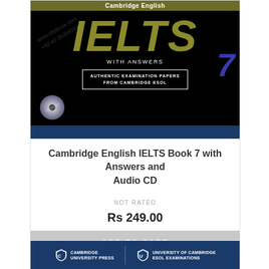[Figure (photo): Cambridge English IELTS Book 7 with Answers and Audio CD book cover. Black background with olive/gold colored 'IELTS' text, number 7 in blue, 'WITH ANSWERS' subtitle, 'AUTHENTIC EXAMINATION PAPERS FROM CAMBRIDGE ESOL' box, and a CD image in bottom left. Watermark text visible.]
Cambridge English IELTS Book 7 with Answers and Audio CD
NOT RATED
Rs 249.00
ADD TO CART
[Figure (logo): Cambridge University Press and University of Cambridge ESOL Examinations logos on dark blue background]